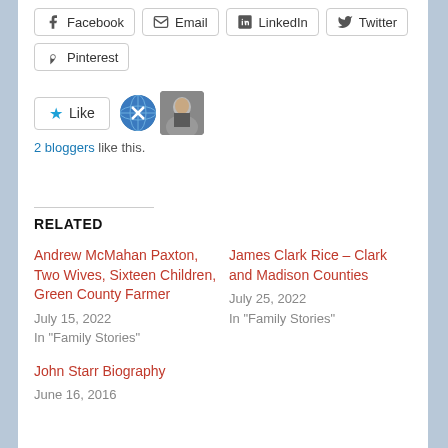Facebook
Email
LinkedIn
Twitter
Pinterest
2 bloggers like this.
RELATED
Andrew McMahan Paxton, Two Wives, Sixteen Children, Green County Farmer
July 15, 2022
In "Family Stories"
James Clark Rice – Clark and Madison Counties
July 25, 2022
In "Family Stories"
John Starr Biography
June 16, 2016